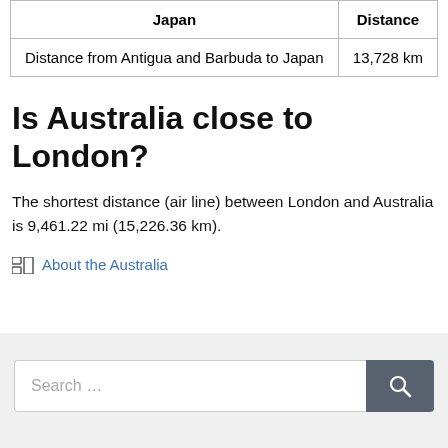| Japan | Distance |
| --- | --- |
| Distance from Antigua and Barbuda to Japan | 13,728 km |
Is Australia close to London?
The shortest distance (air line) between London and Australia is 9,461.22 mi (15,226.36 km).
About the Australia